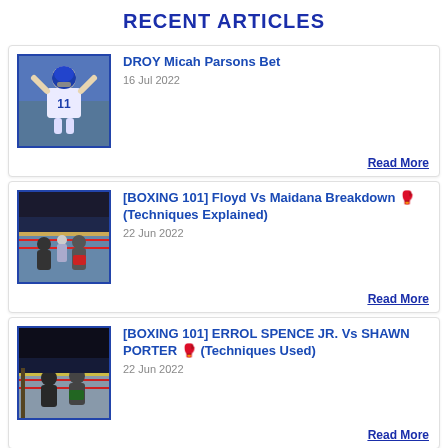RECENT ARTICLES
DROY Micah Parsons Bet
16 Jul 2022
Read More
[BOXING 101] Floyd Vs Maidana Breakdown 🥊 (Techniques Explained)
22 Jun 2022
Read More
[BOXING 101] ERROL SPENCE JR. Vs SHAWN PORTER 🥊 (Techniques Used)
22 Jun 2022
Read More